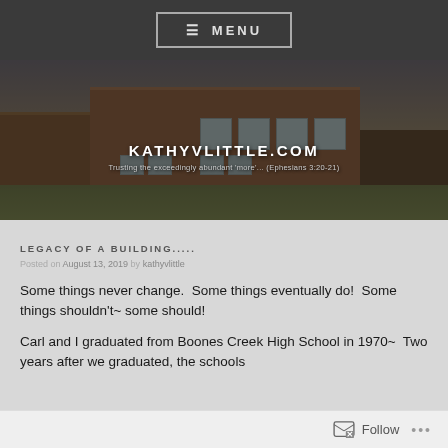≡ MENU
[Figure (photo): Exterior photo of a brick school building (Boones Creek High School) under a cloudy sky, with green lawn in foreground. Overlaid with site title and tagline.]
KATHYVLITTLE.COM
Trusting the exceedingly abundant 'more'... (Ephesians 3:20-21)
LEGACY OF A BUILDING.....
Posted on August 13, 2019 by kathyvlittle
Some things never change.  Some things eventually do!  Some things shouldn't~ some should!
Carl and I graduated from Boones Creek High School in 1970~  Two years after we graduated, the schools
Follow ...